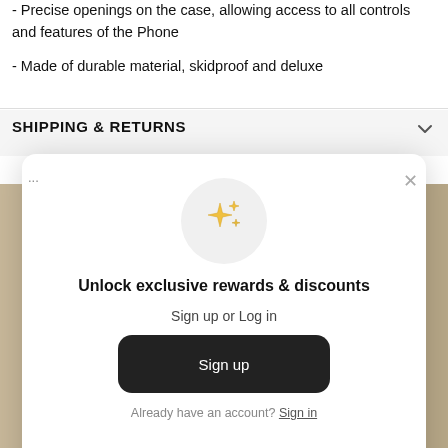- Precise openings on the case, allowing access to all controls and features of the Phone
- Made of durable material, skidproof and deluxe
SHIPPING & RETURNS
[Figure (screenshot): Modal popup with sparkles icon, title 'Unlock exclusive rewards & discounts', subtitle 'Sign up or Log in', a dark Sign up button, and 'Already have an account? Sign in' link]
Unlock exclusive rewards & discounts
Sign up or Log in
Sign up
Already have an account? Sign in